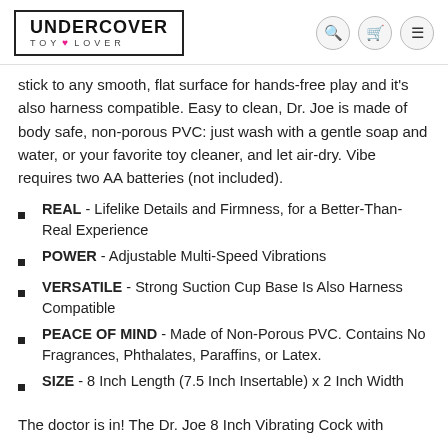UNDERCOVER TOY LOVER
stick to any smooth, flat surface for hands-free play and it's also harness compatible. Easy to clean, Dr. Joe is made of body safe, non-porous PVC: just wash with a gentle soap and water, or your favorite toy cleaner, and let air-dry. Vibe requires two AA batteries (not included).
REAL - Lifelike Details and Firmness, for a Better-Than-Real Experience
POWER - Adjustable Multi-Speed Vibrations
VERSATILE - Strong Suction Cup Base Is Also Harness Compatible
PEACE OF MIND - Made of Non-Porous PVC. Contains No Fragrances, Phthalates, Paraffins, or Latex.
SIZE - 8 Inch Length (7.5 Inch Insertable) x 2 Inch Width
The doctor is in! The Dr. Joe 8 Inch Vibrating Cock with